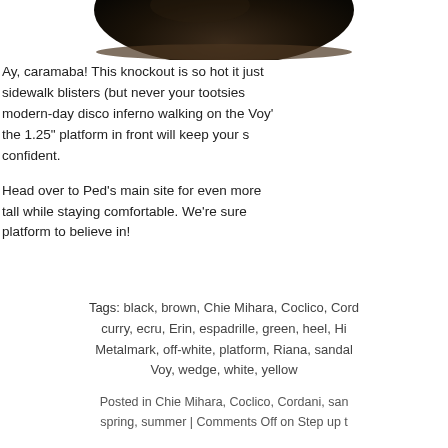[Figure (photo): Partial view of a dark brown shoe (bottom portion), cropped at the top of the page.]
Ay, caramaba! This knockout is so hot it just sidewalk blisters (but never your tootsies modern-day disco inferno walking on the Voy' the 1.25" platform in front will keep your s confident.
Head over to Ped's main site for even more tall while staying comfortable. We're sure platform to believe in!
Tags: black, brown, Chie Mihara, Coclico, Cord curry, ecru, Erin, espadrille, green, heel, Hi Metalmark, off-white, platform, Riana, sandal Voy, wedge, white, yellow
Posted in Chie Mihara, Coclico, Cordani, san spring, summer | Comments Off on Step up t